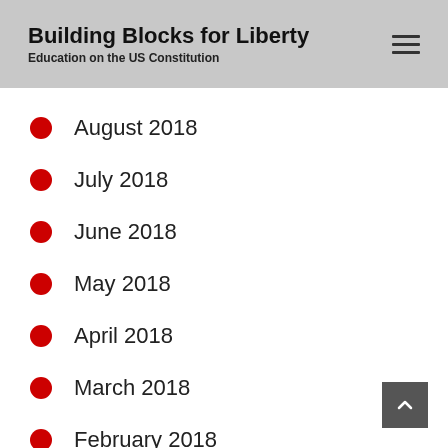Building Blocks for Liberty
Education on the US Constitution
August 2018
July 2018
June 2018
May 2018
April 2018
March 2018
February 2018